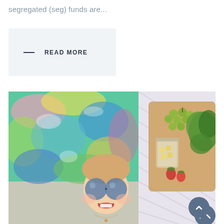segregated (seg) funds are...
— READ MORE
[Figure (photo): A woman lying on her back wearing colorful psychedelic swirl print clothing and round blue sunglasses, smiling and relaxed, next to a wooden tray with grapes, lettuce, strawberries, and a glass jar of cheese cubes, on a striped blanket.]